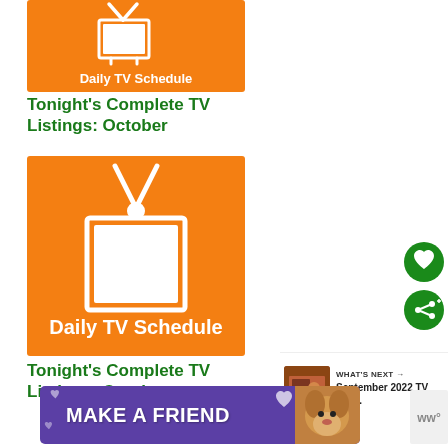[Figure (illustration): Orange Daily TV Schedule card with white TV icon and text 'Daily TV Schedule' (small, top card)]
Tonight's Complete TV Listings: October
[Figure (illustration): Orange Daily TV Schedule card with white TV icon and text 'Daily TV Schedule' (large, second card)]
Tonight's Complete TV Listings: October
[Figure (other): Green circular heart/favorite button]
[Figure (other): Green circular share button]
[Figure (other): WHAT'S NEXT arrow thumbnail with text 'September 2022 TV and...']
[Figure (other): Purple advertisement banner reading MAKE A FRIEND with dog image and hearts]
[Figure (other): WW (WeightWatchers) logo badge in grey, bottom right]